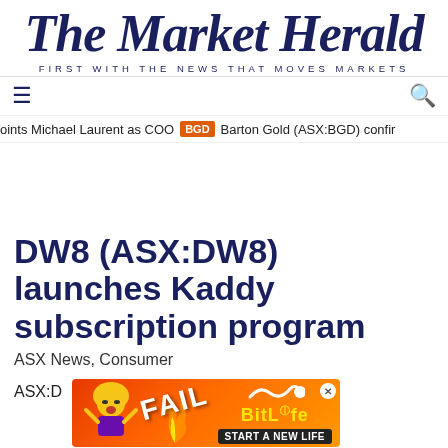The Market Herald — FIRST WITH THE NEWS THAT MOVES MARKETS
☰ (menu) Q (search)
oints Michael Laurent as COO BGD Barton Gold (ASX:BGD) confir
DW8 (ASX:DW8) launches Kaddy subscription program
ASX News, Consumer
ASX:D
[Figure (other): BitLife advertisement banner with FAIL text, cartoon figure, and 'START A NEW LIFE' tagline]